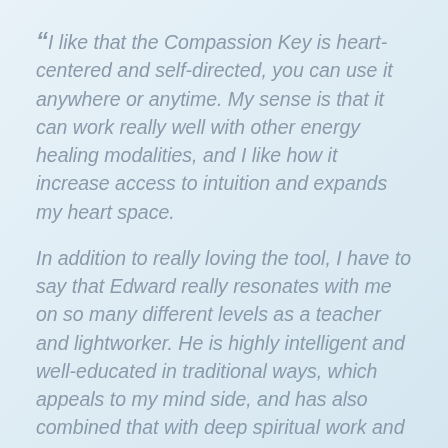“I like that the Compassion Key is heart-centered and self-directed, you can use it anywhere or anytime. My sense is that it can work really well with other energy healing modalities, and I like how it increase access to intuition and expands my heart space.

In addition to really loving the tool, I have to say that Edward really resonates with me on so many different levels as a teacher and lightworker. He is highly intelligent and well-educated in traditional ways, which appeals to my mind side, and has also combined that with deep spiritual work and practice on his own.